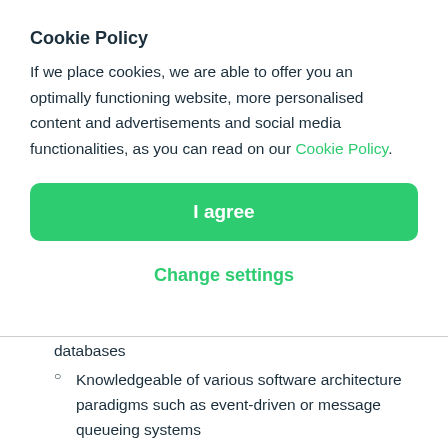Cookie Policy
If we place cookies, we are able to offer you an optimally functioning website, more personalised content and advertisements and social media functionalities, as you can read on our Cookie Policy.
I agree
Change settings
databases
Knowledgeable of various software architecture paradigms such as event-driven or message queueing systems
Open to some domestic and international travel